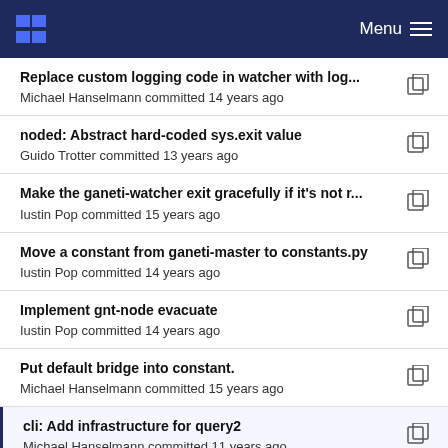Menu
Replace custom logging code in watcher with log...
Michael Hanselmann committed 14 years ago
noded: Abstract hard-coded sys.exit value
Guido Trotter committed 13 years ago
Make the ganeti-watcher exit gracefully if it's not r...
Iustin Pop committed 15 years ago
Move a constant from ganeti-master to constants.py
Iustin Pop committed 14 years ago
Implement gnt-node evacuate
Iustin Pop committed 14 years ago
Put default bridge into constant.
Michael Hanselmann committed 15 years ago
cli: Add infrastructure for query2
Michael Hanselmann committed 11 years ago
Implement tag support for cluster, nodes and inst...